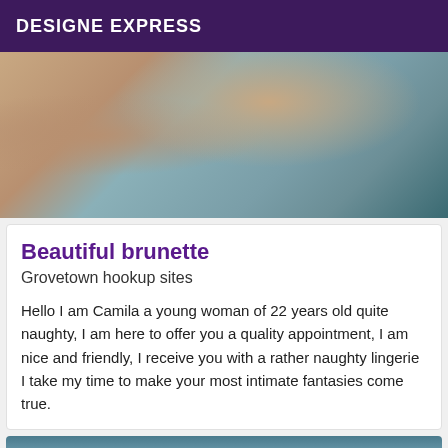DESIGNE EXPRESS
[Figure (photo): A young brunette woman lying on a blue-grey couch/sofa, partially unclothed, viewed from behind. She is wearing a blue top and a bracelet.]
Beautiful brunette
Grovetown hookup sites
Hello I am Camila a young woman of 22 years old quite naughty, I am here to offer you a quality appointment, I am nice and friendly, I receive you with a rather naughty lingerie I take my time to make your most intimate fantasies come true.
[Figure (photo): Partial view of another photo at the bottom with an Online badge in dark purple.]